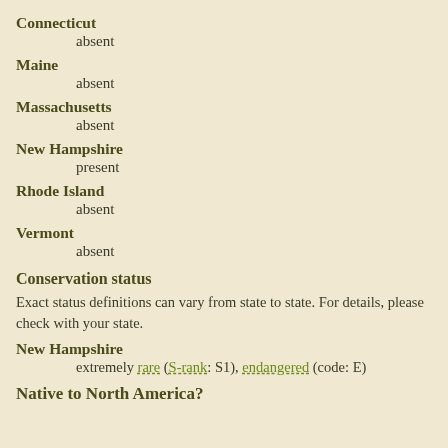Connecticut
    absent
Maine
    absent
Massachusetts
    absent
New Hampshire
    present
Rhode Island
    absent
Vermont
    absent
Conservation status
Exact status definitions can vary from state to state. For details, please check with your state.
New Hampshire
    extremely rare (S-rank: S1), endangered (code: E)
Native to North America?